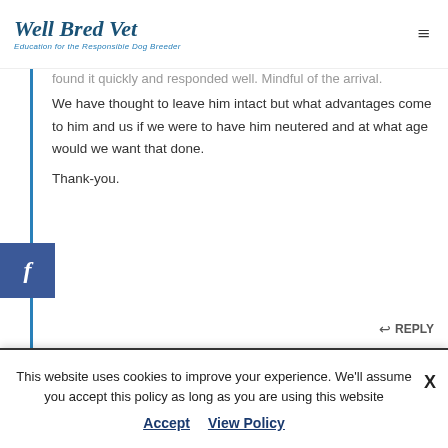Well Bred Vet — Education for the Responsible Dog Breeder
...found it quickly and responded well. Mindful of the arrival. We have thought to leave him intact but what advantages come to him and us if we were to have him neutered and at what age would we want that done.
Thank-you.
REPLY
Dr. Kristina Baltutis · July 21, 2021 at 5:12 pm
Hi Theresa!

Looking at related breeds, I would predict that
This website uses cookies to improve your experience. We'll assume you accept this policy as long as you are using this website
Accept   View Policy